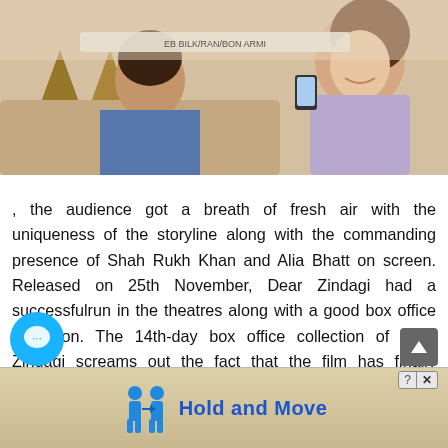[Figure (photo): Young woman smiling and using a smartphone, sitting indoors with decorative wooden structures in background]
, the audience got a breath of fresh air with the uniqueness of the storyline along with the commanding presence of Shah Rukh Khan and Alia Bhatt on screen. Released on 25th November, Dear Zindagi had a successfulrun in the theatres along with a good box office collection. The 14th-day box office collection of Dear Zindagi screams out the fact that the film has finally surpassed the 60 Crore mark and made itself be embedded in the hearts of thousands. With the third w[eekend] running it seems like the movie Dear Zindagi is sti[ll running] Su[joy] Ghosh's Kahaani 2 and Disney's Moana. Considering
[Figure (screenshot): Advertisement overlay showing 'Hold and Move' text with blue figures icon, close button with ? and X, chat bubble icon, and scroll button]